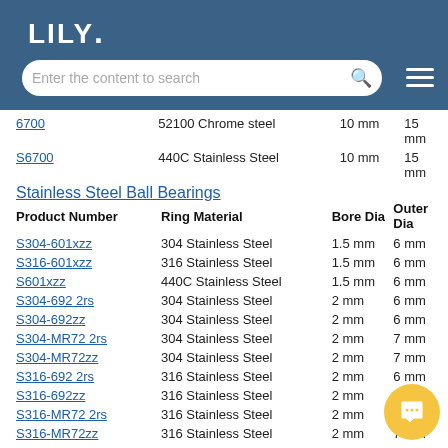LILY. [logo with search bar]
| Product Number | Ring Material | Bore Dia | Outer Dia |
| --- | --- | --- | --- |
| 6700 | 52100 Chrome steel | 10 mm | 15 mm |
| S6700 | 440C Stainless Steel | 10 mm | 15 mm |
Stainless Steel Ball Bearings
| Product Number | Ring Material | Bore Dia | Outer Dia |
| --- | --- | --- | --- |
| S304-601xzz | 304 Stainless Steel | 1.5 mm | 6 mm |
| S316-601xzz | 316 Stainless Steel | 1.5 mm | 6 mm |
| S601xzz | 440C Stainless Steel | 1.5 mm | 6 mm |
| S304-692 2rs | 304 Stainless Steel | 2 mm | 6 mm |
| S304-692zz | 304 Stainless Steel | 2 mm | 6 mm |
| S304-MR72 2rs | 304 Stainless Steel | 2 mm | 7 mm |
| S304-MR72zz | 304 Stainless Steel | 2 mm | 7 mm |
| S316-692 2rs | 316 Stainless Steel | 2 mm | 6 mm |
| S316-692zz | 316 Stainless Steel | 2 mm | 6 mm |
| S316-MR72 2rs | 316 Stainless Steel | 2 mm | 7 mm |
| S316-MR72zz | 316 Stainless Steel | 2 mm | 7 mm |
| S692 2rs | 440C Stainless Steel | 2 mm | 6 mm |
| S692zz | 440C Stainless Steel | 2 mm | 6 mm |
| SMR72 2rs | 440C Stainless Steel | 2 mm | 7 mm |
| SMR72zz | 440C Stainless Steel | 2 mm | 7 mm |
| S304-603 | 304 Stainless Steel | 3 mm | 9 mm |
| S304-683 2rs | 304 Stainless Steel | 3 mm | 7 mm |
| S304-683zz | 304 Stainless Steel | 3 mm | 7 mm |